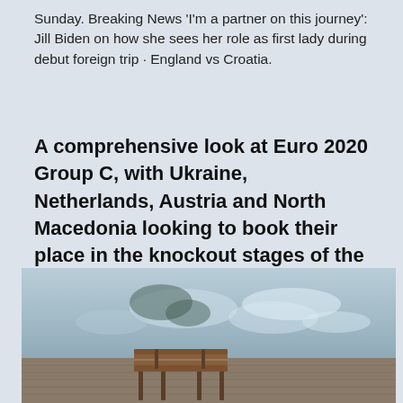Sunday. Breaking News 'I'm a partner on this journey': Jill Biden on how she sees her role as first lady during debut foreign trip · England vs Croatia.
A comprehensive look at Euro 2020 Group C, with Ukraine, Netherlands, Austria and North Macedonia looking to book their place in the knockout stages of the tournament. Euro 2020 Group D preview
[Figure (photo): A waterfront scene showing rippling water with light reflections, a wooden deck/boardwalk in the foreground, and a wooden bench in the lower portion.]